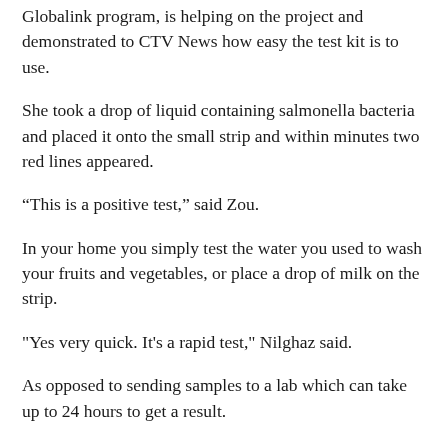Globalink program, is helping on the project and demonstrated to CTV News how easy the test kit is to use.
She took a drop of liquid containing salmonella bacteria and placed it onto the small strip and within minutes two red lines appeared.
“This is a positive test,” said Zou.
In your home you simply test the water you used to wash your fruits and vegetables, or place a drop of milk on the strip.
"Yes very quick. It's a rapid test," Nilghaz said.
As opposed to sending samples to a lab which can take up to 24 hours to get a result.
Nilghaz says the test kit is nearly ready to sell to